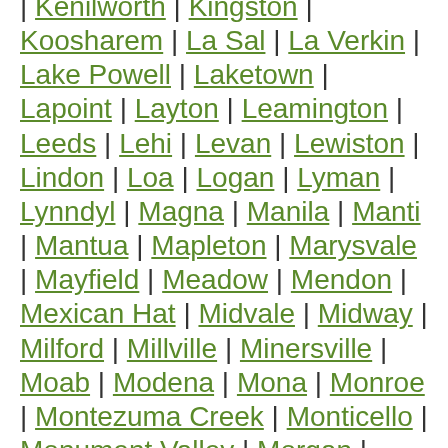| Kenilworth | Kingston | Koosharem | La Sal | La Verkin | Lake Powell | Laketown | Lapoint | Layton | Leamington | Leeds | Lehi | Levan | Lewiston | Lindon | Loa | Logan | Lyman | Lynndyl | Magna | Manila | Manti | Mantua | Mapleton | Marysvale | Mayfield | Meadow | Mendon | Mexican Hat | Midvale | Midway | Milford | Millville | Minersville | Moab | Modena | Mona | Monroe | Montezuma Creek | Monticello | Monument Valley | Morgan | Moroni | Mount Carmel | Mount Pleasant | Mountain Home | Myton | Neola | Nephi | New Harmony | Newcastle | Newton | North Salt Lake | Oak City | Oakley | Oasis | Ogden | Orangeville | Orderville | Orem | Panguitch | Paradise | Paragonah